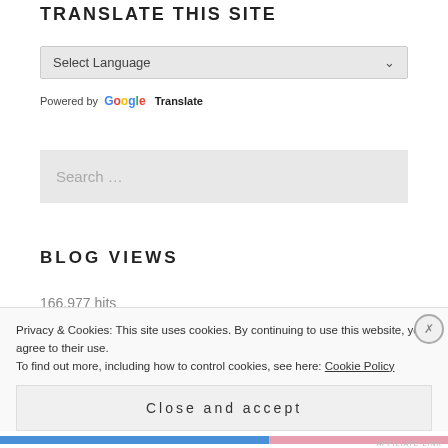TRANSLATE THIS SITE
Select Language
Powered by Google Translate
Search ...
BLOG VIEWS
166,977 hits
Privacy & Cookies: This site uses cookies. By continuing to use this website, you agree to their use.
To find out more, including how to control cookies, see here: Cookie Policy
Close and accept